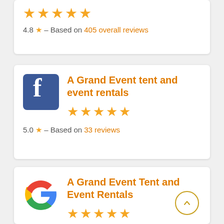[Figure (other): Card showing 5 orange stars rating]
4.8 ★ - Based on 405 overall reviews
[Figure (logo): Facebook logo icon (blue square with white f)]
A Grand Event tent and event rentals
[Figure (other): 5 orange stars rating]
5.0 ★ - Based on 33 reviews
[Figure (logo): Google G logo icon]
A Grand Event Tent and Event Rentals
[Figure (other): 5 orange stars rating (partial last star)]